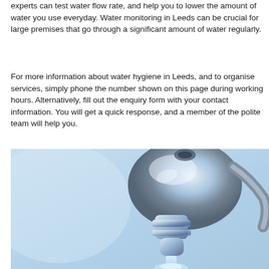experts can test water flow rate, and help you to lower the amount of water you use everyday. Water monitoring in Leeds can be crucial for large premises that go through a significant amount of water regularly.
For more information about water hygiene in Leeds, and to organise services, simply phone the number shown on this page during working hours. Alternatively, fill out the enquiry form with your contact information. You will get a quick response, and a member of the polite team will help you.
[Figure (photo): Close-up photograph of a chrome water tap/faucet with water flowing from it, on a light blue background.]